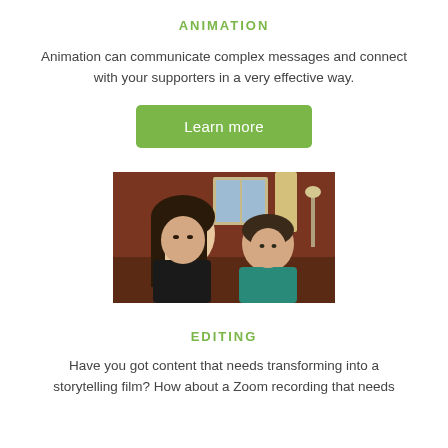ANIMATION
Animation can communicate complex messages and connect with your supporters in a very effective way.
[Figure (other): Green 'Learn more' button]
[Figure (photo): Two young people indoors, one with long dark hair and one in a teal jacket, sitting near a window in a room with reddish-brown walls.]
EDITING
Have you got content that needs transforming into a storytelling film? How about a Zoom recording that needs